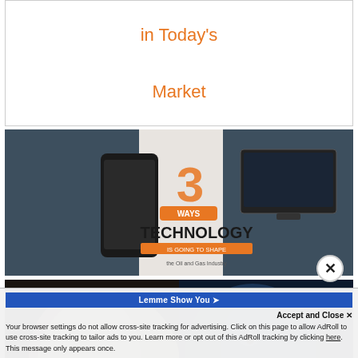in Today's Market
[Figure (infographic): Technology banner showing '3 Ways Technology is going to shape the Oil and Gas Industry' with a smartphone and tablet/monitor in the background]
[Figure (infographic): PakEnergy advertisement showing a split image of a white cat and a blue wolf with text: WEAK point solutions? NO THX! STRONG end-to-end? YESSSSS, I want. PakEnergy logo.]
Lemme Show You ➤
Accept and Close ×
Your browser settings do not allow cross-site tracking for advertising. Click on this page to allow AdRoll to use cross-site tracking to tailor ads to you. Learn more or opt out of this AdRoll tracking by clicking here. This message only appears once.